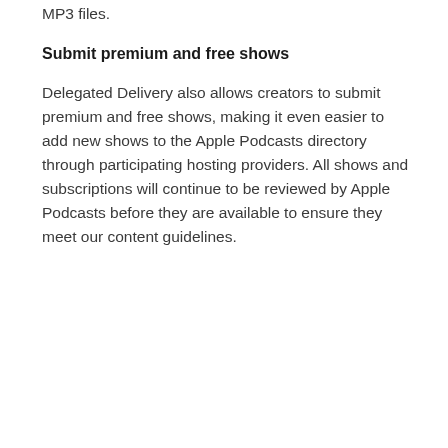creators will be able to authorize a participating hosting provider to deliver free and premium episodes to Apple Podcasts on their behalf. Once authorized, creators can simply use the dashboard offered by their participating hosting provider to publish new free and premium episodes. This includes the ability to schedule the release of exclusive, early access, bonus, and ad-free content using WAV, FLAC, and MP3 files.
Submit premium and free shows
Delegated Delivery also allows creators to submit premium and free shows, making it even easier to add new shows to the Apple Podcasts directory through participating hosting providers. All shows and subscriptions will continue to be reviewed by Apple Podcasts before they are available to ensure they meet our content guidelines.